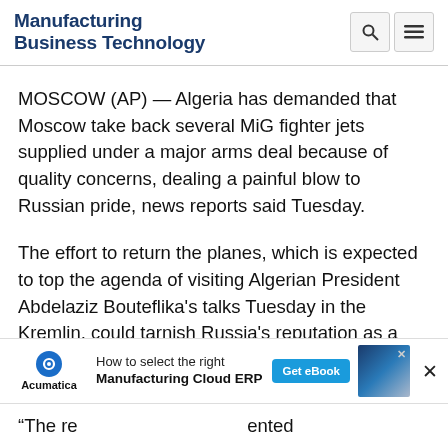Manufacturing Business Technology
MOSCOW (AP) — Algeria has demanded that Moscow take back several MiG fighter jets supplied under a major arms deal because of quality concerns, dealing a painful blow to Russian pride, news reports said Tuesday.
The effort to return the planes, which is expected to top the agenda of visiting Algerian President Abdelaziz Bouteflika's talks Tuesday in the Kremlin, could tarnish Russia's reputation as a reliable supplier and damage its hopes to expand its niche in the world's arms market.
[Figure (screenshot): Advertisement banner for Acumatica Manufacturing Cloud ERP with 'How to select the right Manufacturing Cloud ERP' text and 'Get eBook' button]
"The re... ented for Russia... said Alex... (illegible)